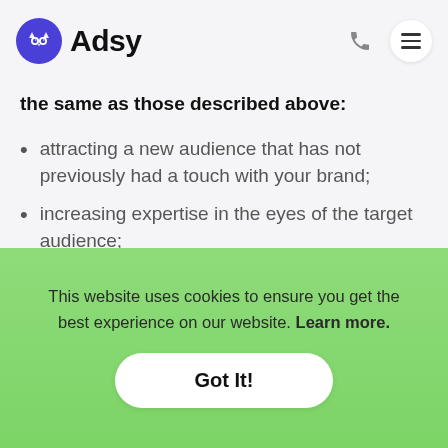Adsy
the same as those described above:
attracting a new audience that has not previously had a touch with your brand;
increasing expertise in the eyes of the target audience;
improving SEO and site positions due to external links.
This website uses cookies to ensure you get the best experience on our website. Learn more.
Got It!